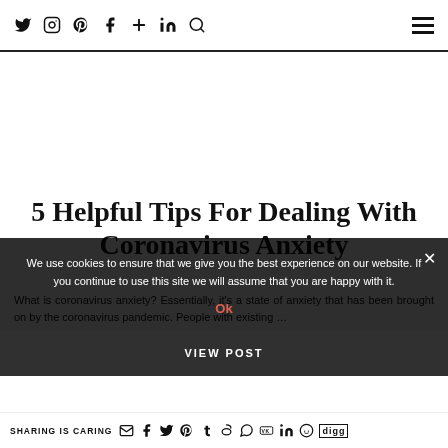Social icons: Twitter, Instagram, Pinterest, Facebook, Plus, LinkedIn, Search | Hamburger menu
5 Helpful Tips For Dealing With Coronavirus Anxiety
What is coronavirus anxiety? Essentially, it's a state of anxiety that has been brought on by the coronavirus pandemic. People with existing …
VIEW POST
We use cookies to ensure that we give you the best experience on our website. If you continue to use this site we will assume that you are happy with it.
Ok
SHARING IS CARING [social share icons]